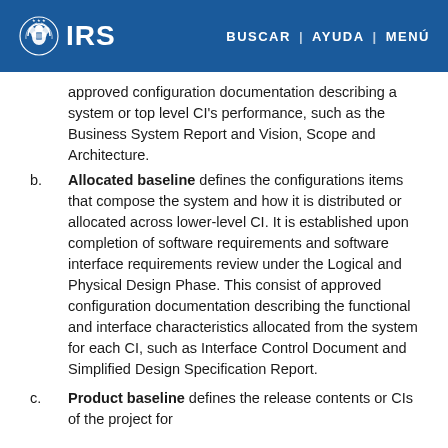IRS | BUSCAR | AYUDA | MENÚ
approved configuration documentation describing a system or top level CI's performance, such as the Business System Report and Vision, Scope and Architecture.
b. Allocated baseline defines the configurations items that compose the system and how it is distributed or allocated across lower-level CI. It is established upon completion of software requirements and software interface requirements review under the Logical and Physical Design Phase. This consist of approved configuration documentation describing the functional and interface characteristics allocated from the system for each CI, such as Interface Control Document and Simplified Design Specification Report.
c. Product baseline defines the release contents or CIs of the project for